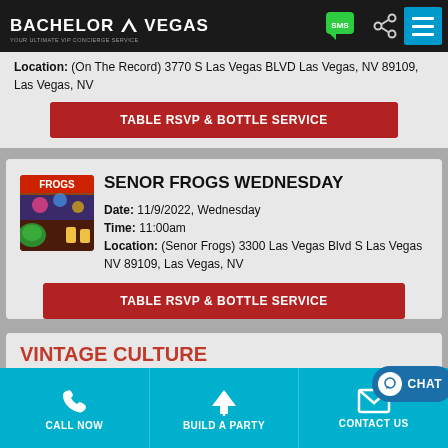BACHELOR VEGAS — YOUR ULTIMATE VIP CONCIERGE SERVICE
Location: (On The Record) 3770 S Las Vegas BLVD Las Vegas, NV 89109, Las Vegas, NV
TABLE RSVP & BOTTLE SERVICE
SENOR FROGS WEDNESDAY
Date: 11/9/2022, Wednesday
Time: 11:00am
Location: (Senor Frogs) 3300 Las Vegas Blvd S Las Vegas NV 89109, Las Vegas, NV
TABLE RSVP & BOTTLE SERVICE
VINTAGE CULTURE
CALL NOW   BUILD A PARTY   CONTACT US